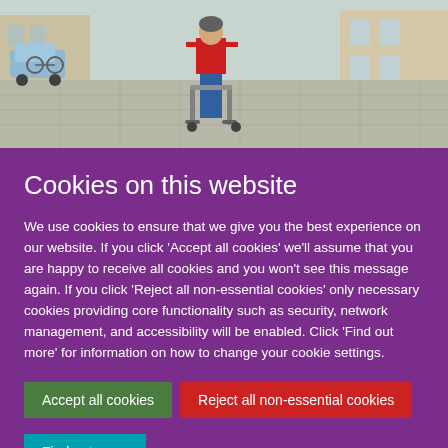[Figure (photo): Street scene photo showing a person wearing a red top and blue trousers walking away from the camera, pushing a walking frame/trolley on a paved sidewalk. Buildings and cars visible in the background.]
Cookies on this website
We use cookies to ensure that we give you the best experience on our website. If you click 'Accept all cookies' we'll assume that you are happy to receive all cookies and you won't see this message again. If you click 'Reject all non-essential cookies' only necessary cookies providing core functionality such as security, network management, and accessibility will be enabled. Click 'Find out more' for information on how to change your cookie settings.
Accept all cookies | Reject all non-essential cookies | Find out more